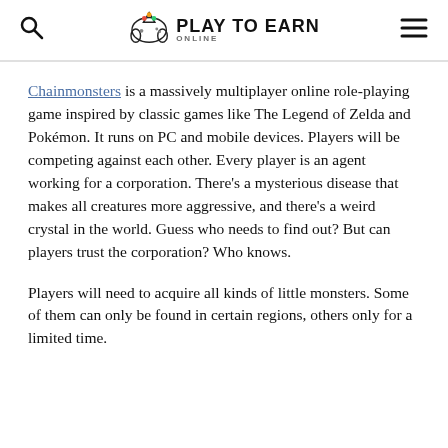Play To Earn Online
Chainmonsters is a massively multiplayer online role-playing game inspired by classic games like The Legend of Zelda and Pokémon. It runs on PC and mobile devices. Players will be competing against each other. Every player is an agent working for a corporation. There's a mysterious disease that makes all creatures more aggressive, and there's a weird crystal in the world. Guess who needs to find out? But can players trust the corporation? Who knows.
Players will need to acquire all kinds of little monsters. Some of them can only be found in certain regions, others only for a limited time.